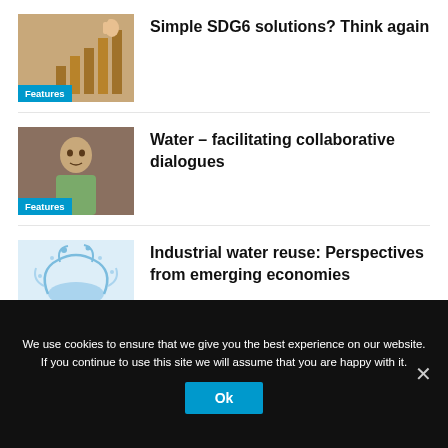[Figure (photo): Thumbnail image of a hand placing wooden blocks, representing SDG6 solutions]
Features
Simple SDG6 solutions? Think again
[Figure (photo): Thumbnail image of a man in a green shirt against a wall, representing collaborative dialogues]
Features
Water – facilitating collaborative dialogues
[Figure (photo): Thumbnail image of a water splash, representing industrial water reuse]
Features
Industrial water reuse: Perspectives from emerging economies
We use cookies to ensure that we give you the best experience on our website. If you continue to use this site we will assume that you are happy with it.